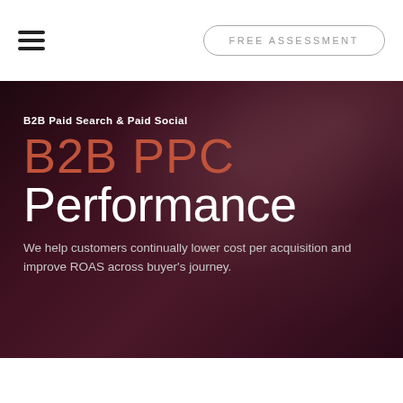FREE ASSESSMENT
[Figure (photo): Hero section with dark maroon/purple overlay over a photo of two business professionals (a man with beard and a woman with glasses) looking at something together, likely a tablet or document]
B2B Paid Search & Paid Social
B2B PPC Performance
We help customers continually lower cost per acquisition and improve ROAS across buyer's journey.